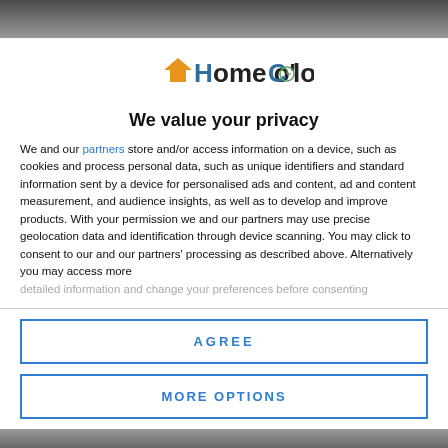[Figure (photo): Top portion of a background photo, partially cropped]
[Figure (logo): Home o'Clock logo with orange house roof icon and teal clock symbol]
We value your privacy
We and our partners store and/or access information on a device, such as cookies and process personal data, such as unique identifiers and standard information sent by a device for personalised ads and content, ad and content measurement, and audience insights, as well as to develop and improve products. With your permission we and our partners may use precise geolocation data and identification through device scanning. You may click to consent to our and our partners' processing as described above. Alternatively you may access more detailed information and change your preferences before consenting
AGREE
MORE OPTIONS